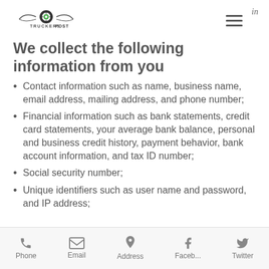TRUCKERSPOST — navigation header with logo, hamburger menu, and LinkedIn icon
We collect the following information from you
Contact information such as name, business name, email address, mailing address, and phone number;
Financial information such as bank statements, credit card statements, your average bank balance, personal and business credit history, payment behavior, bank account information, and tax ID number;
Social security number;
Unique identifiers such as user name and password, and IP address;
Phone  Email  Address  Faceb...  Twitter